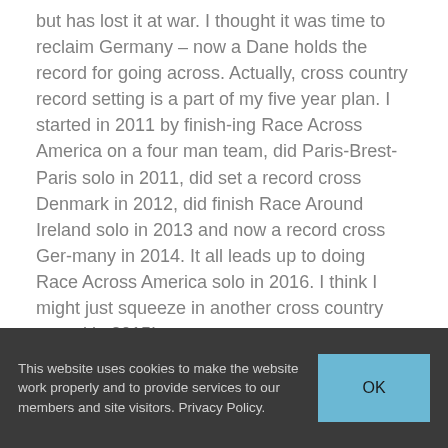but has lost it at war. I thought it was time to reclaim Germany – now a Dane holds the record for going across. Actually, cross country record setting is a part of my five year plan. I started in 2011 by finish-ing Race Across America on a four man team, did Paris-Brest-Paris solo in 2011, did set a record cross Denmark in 2012, did finish Race Around Ireland solo in 2013 and now a record cross Ger-many in 2014. It all leads up to doing Race Across America solo in 2016. I think I might just squeeze in another cross country record in 2015!
What equipment did you use? Anything special?
I use a bike frame built for long distance biking – a Specialized Roubaix S-works SL4. Then I use a carbon handlebar with big corners for resting the hands, with
This website uses cookies to make the website work properly and to provide services to our members and site visitors. Privacy Policy.